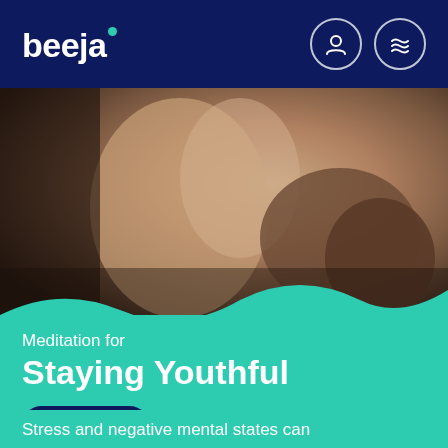beeja
[Figure (photo): Side profile of a woman with eyes closed and braided hair, in a peaceful, meditative pose against a dark background]
Meditation for
Staying Youthful
Lifestyle
Stress and negative mental states can